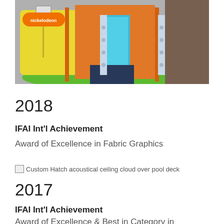[Figure (photo): Photo of a colorful indoor exhibit or trade show booth featuring SpongeBob themed fabric graphics in yellow, orange, and green with blue accents]
2018
IFAI Int'l Achievement
Award of Excellence in Fabric Graphics
[Figure (photo): Broken/missing image: Custom Hatch acoustical ceiling cloud over pool deck]
2017
IFAI Int'l Achievement
Award of Excellence & Best in Category in